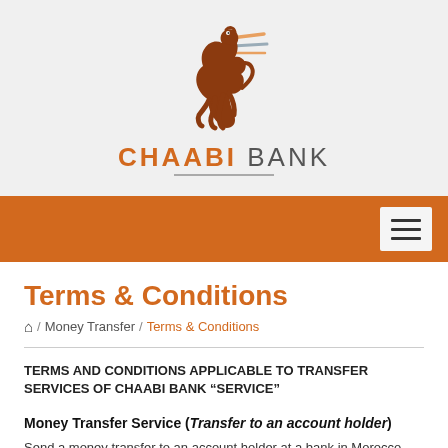[Figure (logo): Chaabi Bank logo: a brown rearing horse with orange speed lines above, and the text CHAABI BANK below with a gray underline]
Navigation bar with hamburger menu icon
Terms & Conditions
Home / Money Transfer / Terms & Conditions
TERMS AND CONDITIONS APPLICABLE TO TRANSFER SERVICES OF CHAABI BANK “SERVICE”
Money Transfer Service (Transfer to an account holder)
Send a money transfer to an account holder at a bank in Morocco. It’s a